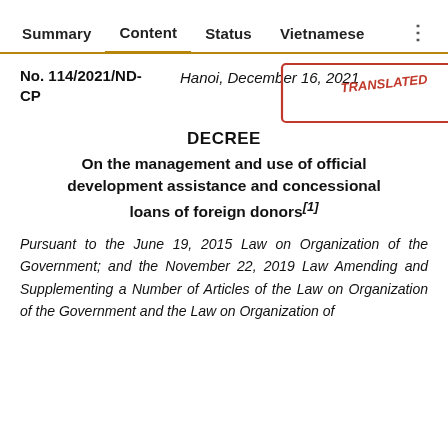Summary | Content | Status | Vietnamese
No. 114/2021/ND-CP
Hanoi, December 16, 2021
DECREE
On the management and use of official development assistance and concessional loans of foreign donors[1]
Pursuant to the June 19, 2015 Law on Organization of the Government; and the November 22, 2019 Law Amending and Supplementing a Number of Articles of the Law on Organization of the Government and the Law on Organization of